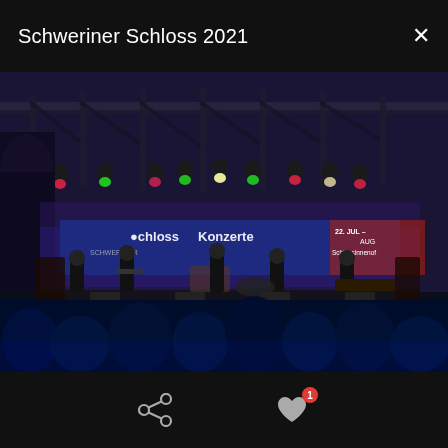Schweriner Schloss 2021
[Figure (photo): Outdoor concert at Schweriner Schlosskonzerte 2021. A band with five musicians performs on a large stage under a metal truss roof with colorful stage lights. A banner reads 'Schweriner SchlosKonzerte' and '22. Jul – Aug, Schlossinnenof'. An audience watches from the foreground, their silhouettes visible in blue light.]
Share and like (1) buttons